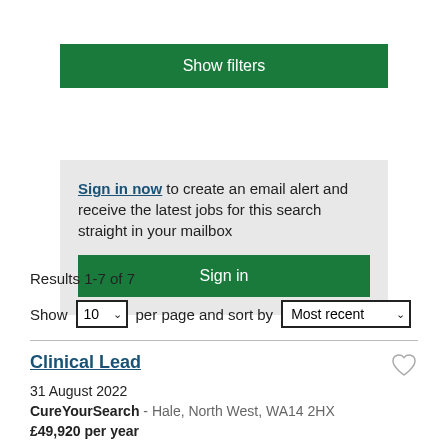[Figure (other): Green Show filters button]
Sign in now to create an email alert and receive the latest jobs for this search straight in your mailbox
[Figure (other): Green Sign in button]
Results 1-7 of 7
Show 10 per page and sort by Most recent
Clinical Lead
31 August 2022
CureYourSearch - Hale, North West, WA14 2HX
£49,920 per year